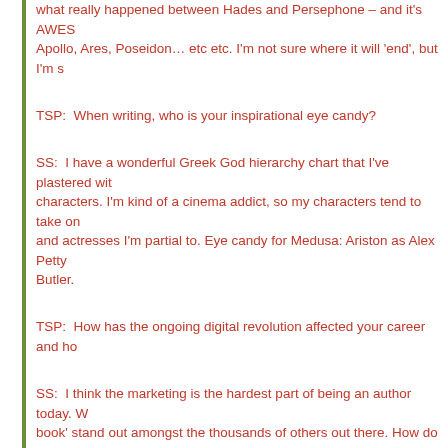what really happened between Hades and Persephone – and it's AWES Apollo, Ares, Poseidon… etc etc. I'm not sure where it will 'end', but I'm s
TSP:  When writing, who is your inspirational eye candy?
SS:  I have a wonderful Greek God hierarchy chart that I've plastered wit characters. I'm kind of a cinema addict, so my characters tend to take on and actresses I'm partial to. Eye candy for Medusa: Ariston as Alex Petty Butler.
TSP:  How has the ongoing digital revolution affected your career and ho
SS:  I think the marketing is the hardest part of being an author today. W book' stand out amongst the thousands of others out there. How do you obnoxious? How do reach people without being a stalker… It's hard. Anc I've already made some wonderful international connections with readers have come about without things like Pinterest, Facebook, and Twitter.
TSP:  When not writing, what is your ideal way to relax?  And with summ vacation spots you long to visit?
SS:  I'm in Texas – so vacation spots normally include water. We'll hit the making the trip to Romance Writer's of America's national conference in a conference, meeting up with writer pals, making new ones… and this yea Literacy Signing fundraiser for the first time. I'm terrified. I don't want to